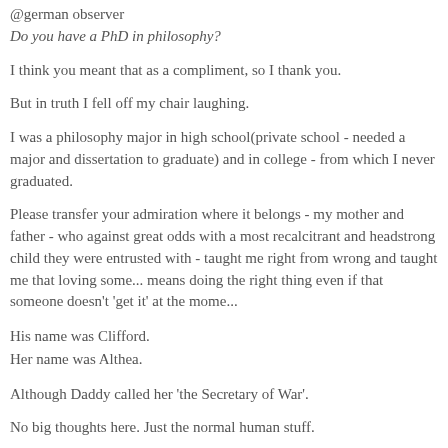@german observer
Do you have a PhD in philosophy?
I think you meant that as a compliment, so I thank you.
But in truth I fell off my chair laughing.
I was a philosophy major in high school(private school - needed a major and dissertation to graduate) and in college - from which I never graduated.
Please transfer your admiration where it belongs - my mother and father - who against great odds with a most recalcitrant and headstrong child they were entrusted with - taught me right from wrong and taught me that loving someone means doing the right thing even if that someone doesn't 'get it' at the mome...
His name was Clifford.
Her name was Althea.
Although Daddy called her 'the Secretary of War'.
No big thoughts here. Just the normal human stuff.
Posted by: Pamela | February 26, 2007 at 10:47 PM
Pamela
Although Daddy called her 'the Secretary of War'.